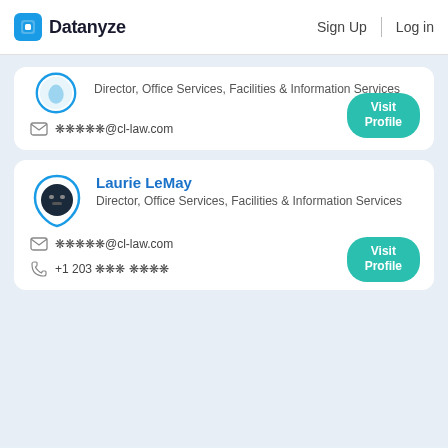Datanyze  Sign Up  Log in
Director, Office Services, Facilities & Information Services
✉ ❋❋❋❋❋@cl-law.com
Laurie LeMay
Director, Office Services, Facilities & Information Services
✉ ❋❋❋❋❋@cl-law.com
☎ +1 203 ❋❋❋ ❋❋❋❋